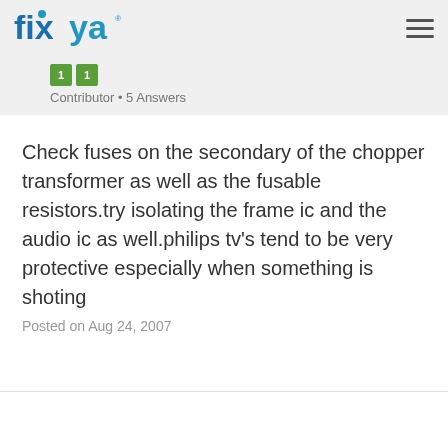fixya
1  1
Contributor • 5 Answers
Check fuses on the secondary of the chopper transformer as well as the fusable resistors.try isolating the frame ic and the audio ic as well.philips tv's tend to be very protective especially when something is shoting
Posted on Aug 24, 2007